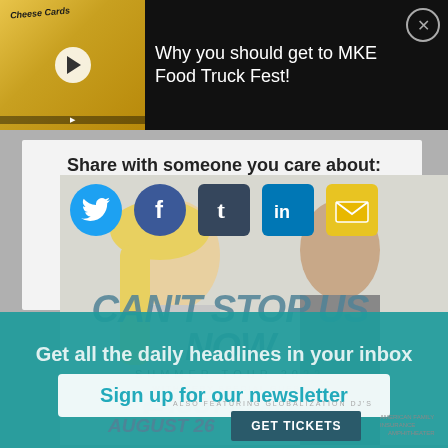[Figure (screenshot): Video thumbnail showing a yellow food truck with cheese cards signage]
Why you should get to MKE Food Truck Fest!
Share with someone you care about:
[Figure (illustration): Social sharing icons: Twitter, Facebook, Tumblr, LinkedIn, Email overlaid on concert poster art showing a blonde woman and bald man]
[Figure (photo): Concert advertisement: CAN'T STOP US NOW Summer Tour 2022 with very special guest Iggy Azalea, also featuring Globalization DJs, August 26, American Family Insurance Amphitheater, GET TICKETS button]
Get all the daily headlines in your inbox
Sign up for our newsletter